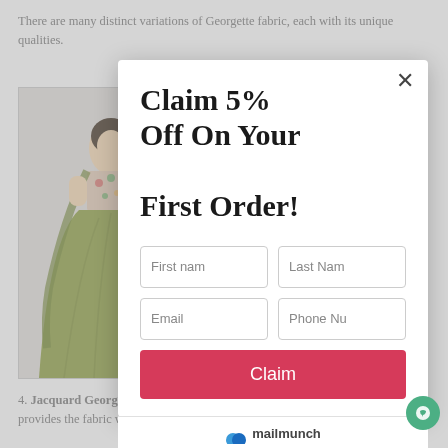There are many distinct variations of Georgette fabric, each with its unique qualities.
[Figure (photo): Woman wearing a green lehenga choli (Indian ethnic outfit) with floral blouse and dupatta]
1. Double Georgette: Silk double georgette is a more luxurious version of Georgette that retains a beautiful...
2. Matte Georgette: Elasticity. Georgette is woven with spandex or other elastic materials for compression stretch.
3. Satin Georgette: This style of Georgette is... giving it a shiny look
Claim 5% Off On Your First Order!
First nam
Last Nam
Email
Phone Nu
Claim
4. Jacquard Georgette: Jacquard georgette is woven on a jacquard loom, which provides the fabric with increased durability and a jacquard pattern.
mailmunch